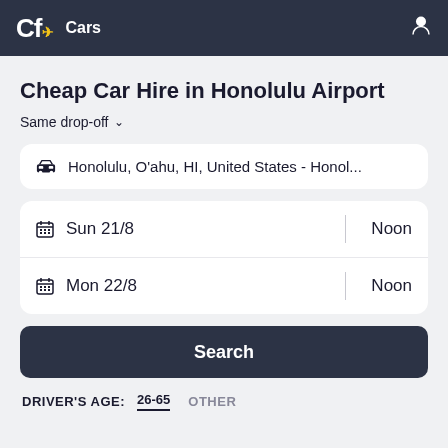Cf Cars
Cheap Car Hire in Honolulu Airport
Same drop-off
Honolulu, O'ahu, HI, United States - Honol...
Sun 21/8   Noon
Mon 22/8   Noon
Search
DRIVER'S AGE: 26-65  OTHER